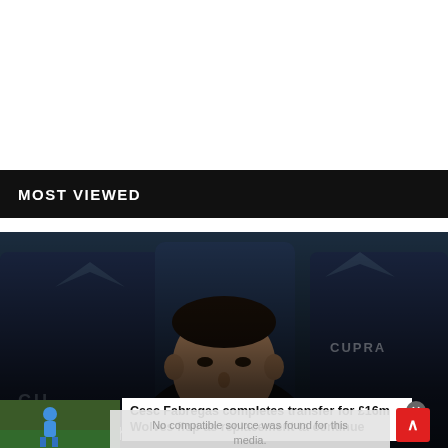MOST VIEWED
[Figure (photo): Xavi Hernandez sitting in a Cupra-branded dugout seat, wearing a black t-shirt, looking forward]
Xavi makes his final choice over Barcelona's new right-back
by FOOTBALL FLAME - September 01, 2022
[Figure (photo): Football player in blue kit on a pitch]
Cesc Fabregas completes transfer for £16m Wolves flop as replacement ta continue
No compatible source was found for this media.